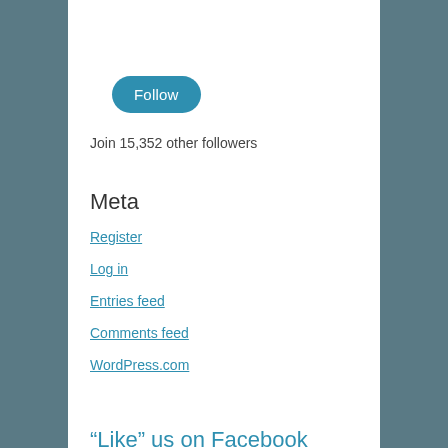[Figure (other): Follow button — teal/blue rounded pill button with white text 'Follow']
Join 15,352 other followers
Meta
Register
Log in
Entries feed
Comments feed
WordPress.com
“Like” us on Facebook